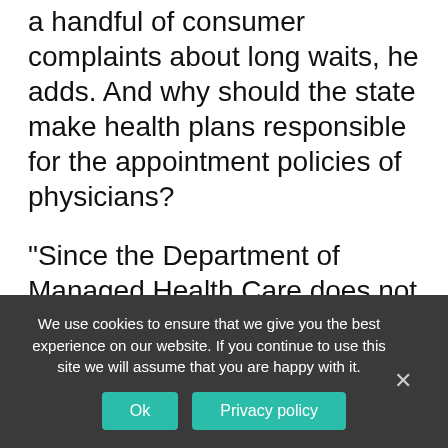a handful of consumer complaints about long waits, he adds. And why should the state make health plans responsible for the appointment policies of physicians?
“Since the Department of Managed Health Care does not regulate doctors, they are in effect asking us to do the job,” says Bacchi. “Clearly it is up to providers to establish time lines. It has put us in a very difficult situation.
“It will affect some of our relationships with
We use cookies to ensure that we give you the best experience on our website. If you continue to use this site we will assume that you are happy with it.